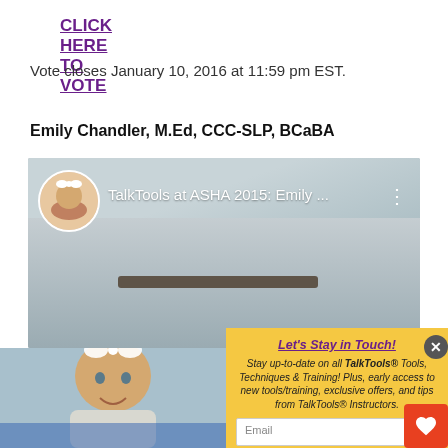CLICK HERE TO VOTE
Vote closes January 10, 2016 at 11:59 pm EST.
Emily Chandler, M.Ed, CCC-SLP, BCaBA
[Figure (screenshot): Video thumbnail showing 'TalkTools at ASHA 2015: Emily ...' with a circular avatar and a woman with glasses in the background]
[Figure (photo): Popup overlay showing a baby girl with a white bow in her hair sitting in a blue high chair holding a bottle, overlaid with a yellow subscription form with email input and Subscribe button]